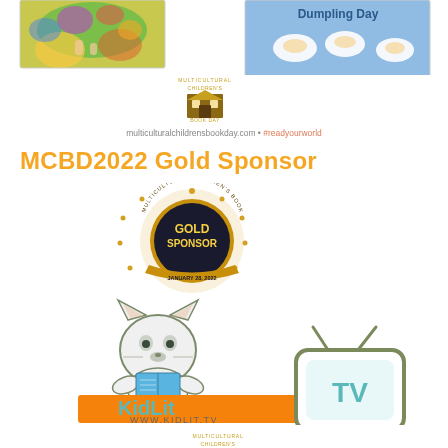[Figure (illustration): Two children's book covers at top: left is a colorful illustrated jungle/nature scene, right is 'Dumpling Day' book cover showing dumplings on plates with blue checkered background]
[Figure (logo): Multicultural Children's Book Day logo — small building/house icon with text 'MULTICULTURAL CHILDREN'S BOOK DAY' in circular arrangement]
multiculturalchildrensbookday.com • #readyourworld
MCBD2022 Gold Sponsor
[Figure (logo): Gold Sponsor badge/seal for Multicultural Children's Book Day — circular gold medallion with text 'GOLD SPONSOR' and 'JANUARY 28, 2022' with stars and ribbon]
[Figure (logo): KidLit TV logo — cartoon fox reading a book above orange rectangle with 'KidLit' text and TV set graphic with 'TV' text, www.KidLit.TV below]
[Figure (logo): Multicultural Children's Book Day logo at bottom (partially visible)]